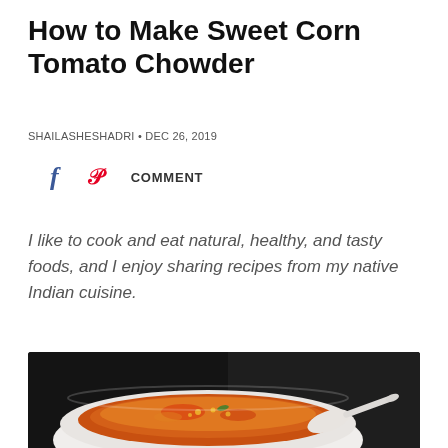How to Make Sweet Corn Tomato Chowder
SHAILASHESHADRI • DEC 26, 2019
f  p  COMMENT
I like to cook and eat natural, healthy, and tasty foods, and I enjoy sharing recipes from my native Indian cuisine.
[Figure (photo): A white bowl of sweet corn tomato chowder soup with orange-red color, garnished with herbs, served with a white spoon, on a dark/black background.]